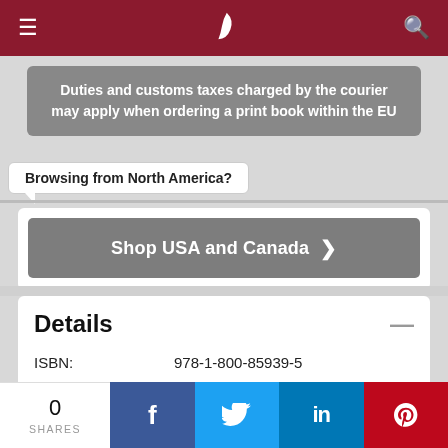≡  )  🔍
Duties and customs taxes charged by the courier may apply when ordering a print book within the EU
Browsing from North America?
Shop USA and Canada  >
Details
| Field | Value |
| --- | --- |
| ISBN: | 978-1-800-85939-5 |
| Pages: | 120 |
| Format: | Paperback |
0 SHARES  f  t  in  p